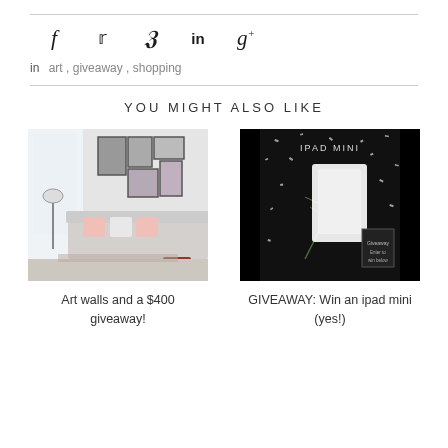in   art , giveaway , shopping
YOU MIGHT ALSO LIKE
[Figure (photo): Interior photo: bright living room with white sofa, pink cushions, gallery wall of framed art prints, coffee table, and red leather stool]
Art walls and a $400 giveaway!
[Figure (photo): Dark promotional image: iPad mini giveaway with confetti and decorative elements on black background]
GIVEAWAY: Win an ipad mini (yes!)